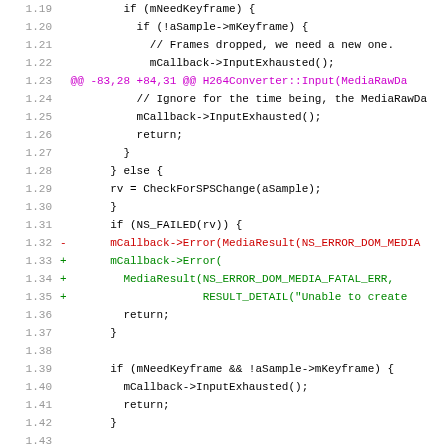[Figure (screenshot): Source code diff view showing C++ code for H264Converter with line numbers 1.19-1.50, including removed lines in red and added lines in green, and a diff hunk header in magenta.]